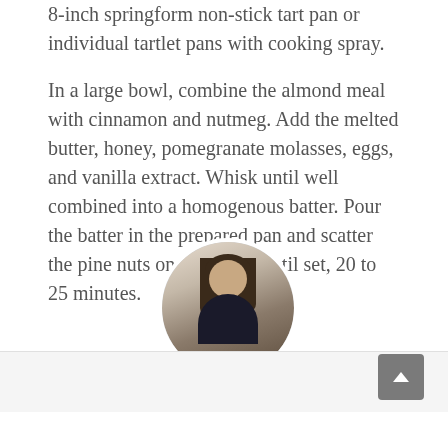8-inch springform non-stick tart pan or individual tartlet pans with cooking spray.
In a large bowl, combine the almond meal with cinnamon and nutmeg. Add the melted butter, honey, pomegranate molasses, eggs, and vanilla extract. Whisk until well combined into a homogenous batter. Pour the batter in the prepared pan and scatter the pine nuts on top. Bake until set, 20 to 25 minutes.
[Figure (photo): Circular profile photo of Jennifer Dumas, a woman with long dark hair wearing a dark sweater, working in a kitchen setting.]
Jennifer Dumas